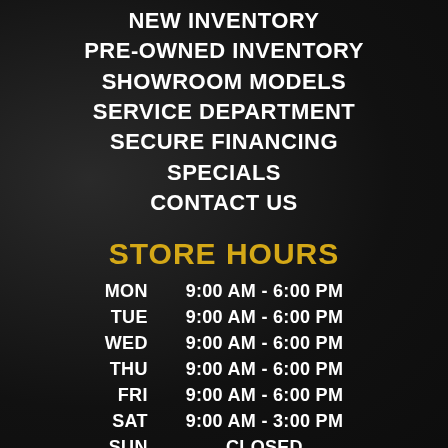NEW INVENTORY
PRE-OWNED INVENTORY
SHOWROOM MODELS
SERVICE DEPARTMENT
SECURE FINANCING
SPECIALS
CONTACT US
STORE HOURS
| Day | Hours |
| --- | --- |
| MON | 9:00 AM  -  6:00 PM |
| TUE | 9:00 AM  -  6:00 PM |
| WED | 9:00 AM  -  6:00 PM |
| THU | 9:00 AM  -  6:00 PM |
| FRI | 9:00 AM  -  6:00 PM |
| SAT | 9:00 AM  -  3:00 PM |
| SUN | CLOSED |